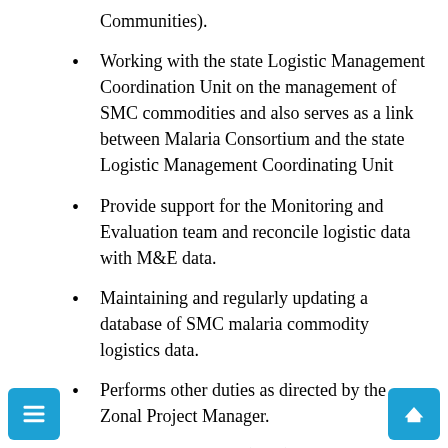Communities).
Working with the state Logistic Management Coordination Unit on the management of SMC commodities and also serves as a link between Malaria Consortium and the state Logistic Management Coordinating Unit
Provide support for the Monitoring and Evaluation team and reconcile logistic data with M&E data.
Maintaining and regularly updating a database of SMC malaria commodity logistics data.
Performs other duties as directed by the Zonal Project Manager.
Coordination/Feedback (30%):
Ensure smooth relationship with Country Office and Supply Chain Managers